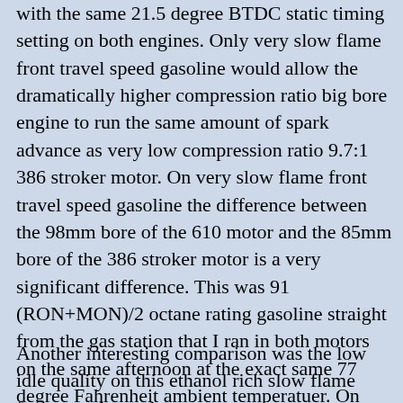with the same 21.5 degree BTDC static timing setting on both engines. Only very slow flame front travel speed gasoline would allow the dramatically higher compression ratio big bore engine to run the same amount of spark advance as very low compression ratio 9.7:1 386 stroker motor. On very slow flame front travel speed gasoline the difference between the 98mm bore of the 610 motor and the 85mm bore of the 386 stroker motor is a very significant difference. This was 91 (RON+MON)/2 octane rating gasoline straight from the gas station that I ran in both motors on the same afternoon at the exact same 77 degree Fahrenheit ambient temperatuer. On faster flame front travel speed gasoline the huge compression ratio difference dwarfs the bore size difference and the 12.2:1 hot rod 610 motor typically runs about a 3 to 6 degree later static timing setting than the 9.7:1 386 stroker motor.
Another interesting comparison was the low idle quality on this ethanol rich slow flame front travel speed